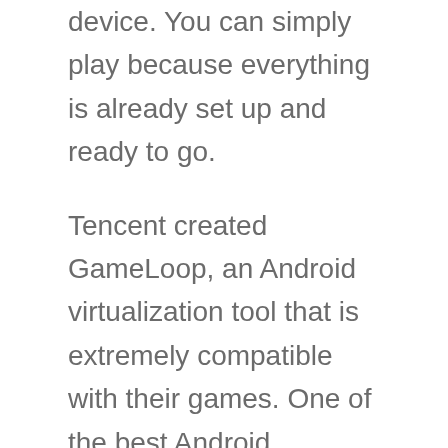device. You can simply play because everything is already set up and ready to go.
Tencent created GameLoop, an Android virtualization tool that is extremely compatible with their games. One of the best Android virtualization programs.
What is the size of the Game Loop Emulator's?
Gameloop's offline installer file is 14.4MB. You can also download Gameloop's online